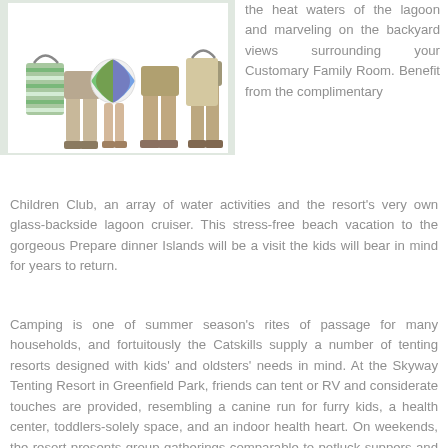[Figure (illustration): A family group standing together with beach bags and a beach ball, shown from waist to feet, wearing casual summer clothing and sandals.]
the heat waters of the lagoon and marveling on the backyard views surrounding your Customary Family Room. Benefit from the complimentary Children Club, an array of water activities and the resort's very own glass-backside lagoon cruiser. This stress-free beach vacation to the gorgeous Prepare dinner Islands will be a visit the kids will bear in mind for years to return.
Camping is one of summer season's rites of passage for many households, and fortuitously the Catskills supply a number of tenting resorts designed with kids' and oldsters' needs in mind. At the Skyway Tenting Resort in Greenfield Park, friends can tent or RV and considerate touches are provided, resembling a canine run for furry kids, a health center, toddlers-solely space, and an indoor health heart. On weekends, the resort presents group gatherings comparable to potluck suppers and complementary wing nights, household campfires and ice